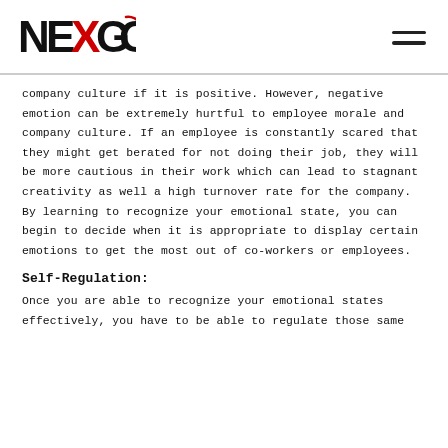[Figure (logo): NexGoal logo in black bold stylized text with red arrow accent on the letter O]
company culture if it is positive. However, negative emotion can be extremely hurtful to employee morale and company culture. If an employee is constantly scared that they might get berated for not doing their job, they will be more cautious in their work which can lead to stagnant creativity as well a high turnover rate for the company. By learning to recognize your emotional state, you can begin to decide when it is appropriate to display certain emotions to get the most out of co-workers or employees.
Self-Regulation:
Once you are able to recognize your emotional states effectively, you have to be able to regulate those same